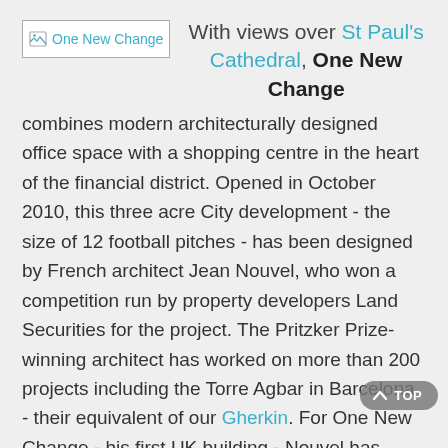[Figure (logo): One New Change logo placeholder image with broken image icon and blue text 'One New Change']
With views over St Paul's Cathedral, One New Change combines modern architecturally designed office space with a shopping centre in the heart of the financial district. Opened in October 2010, this three acre City development - the size of 12 football pitches - has been designed by French architect Jean Nouvel, who won a competition run by property developers Land Securities for the project. The Pritzker Prize-winning architect has worked on more than 200 projects including the Torre Agbar in Barcelona - their equivalent of our Gherkin. For One New Change - his first UK building - Nouvel has come up with two twisted blocks with a public path separating them. Cleverly, he has made maximum use of the site's close proximity to St Paul's, with public viewing platforms at the top of the building as well as plenty of